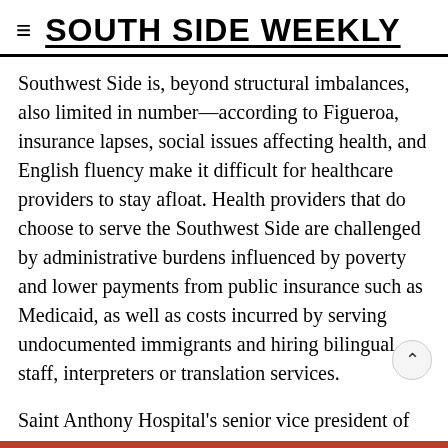SOUTH SIDE WEEKLY
Southwest Side is, beyond structural imbalances, also limited in number—according to Figueroa, insurance lapses, social issues affecting health, and English fluency make it difficult for healthcare providers to stay afloat. Health providers that do choose to serve the Southwest Side are challenged by administrative burdens influenced by poverty and lower payments from public insurance such as Medicaid, as well as costs incurred by serving undocumented immigrants and hiring bilingual staff, interpreters or translation services.
Saint Anthony Hospital's senior vice president of Mission and Community Development, Jim Sifuentes, said that finances are especially difficult